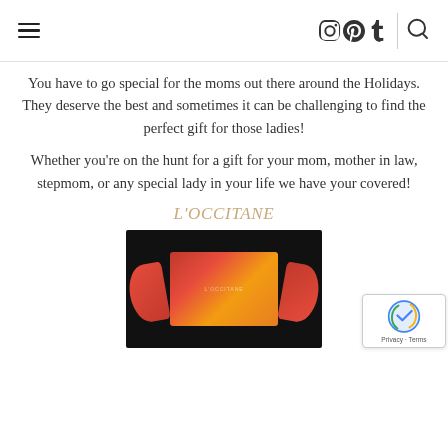Navigation header with menu, social icons (Instagram, Pinterest, Tumblr), and search
You have to go special for the moms out there around the Holidays. They deserve the best and sometimes it can be challenging to find the perfect gift for those ladies!
Whether you’re on the hunt for a gift for your mom, mother in law, stepmom, or any special lady in your life we have your covered!
L’OCCITANE
[Figure (photo): L'Occitane holiday gift set product photo on black background, showing a red and gold Christmas cracker-style gift box]